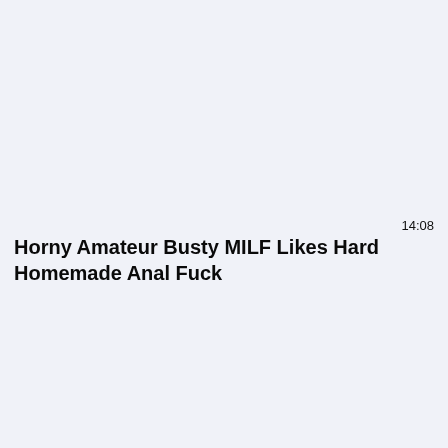14:08
Horny Amateur Busty MILF Likes Hard Homemade Anal Fuck